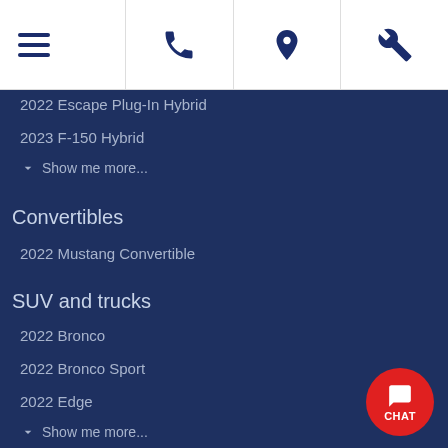Navigation bar with hamburger menu, phone, location, and wrench icons
2022 Escape Plug-In Hybrid
2023 F-150 Hybrid
Show me more...
Convertibles
2022 Mustang Convertible
SUV and trucks
2022 Bronco
2022 Bronco Sport
2022 Edge
Show me more...
Additional information
Our team
Communication Preferences